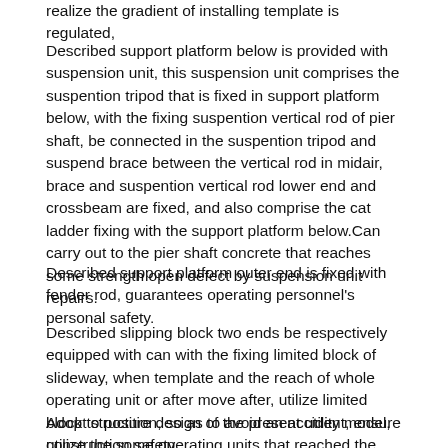realize the gradient of installing template is regulated,
Described support platform below is provided with suspension unit, this suspension unit comprises the suspention tripod that is fixed in support platform below, with the fixing suspention vertical rod of pier shaft, be connected in the suspention tripod and suspend brace between the vertical rod in midair, brace and suspention vertical rod lower end and crossbeam are fixed, and also comprise the cat ladder fixing with the support platform below.Can carry out to the pier shaft concrete that reaches some strength open defect by suspension unit repairs.
Described support platform outer end is fixed with fender rod, guarantees operating personnel's personal safety.
Described slipping block two ends be respectively equipped with can with the fixing limited block of slideway, when template and the reach of whole operating unit or after move after, utilize limited block to position, so as to avoid an accident, ensure construction safety.
Adopt structure design of the present utility model, utilize the some operating units that reached the pier shaft